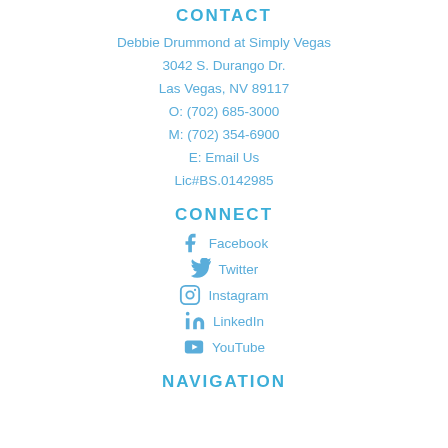CONTACT
Debbie Drummond at Simply Vegas
3042 S. Durango Dr.
Las Vegas, NV 89117
O: (702) 685-3000
M: (702) 354-6900
E: Email Us
Lic#BS.0142985
CONNECT
Facebook
Twitter
Instagram
LinkedIn
YouTube
NAVIGATION